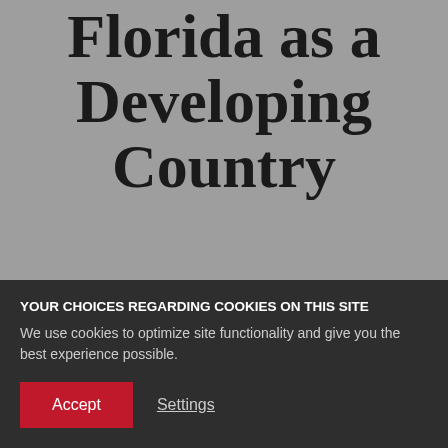Florida as a Developing Country
Jul 2, 2020 | MICHAEL SPENCE and CHEN LONG
YOUR CHOICES REGARDING COOKIES ON THIS SITE
We use cookies to optimize site functionality and give you the best experience possible.